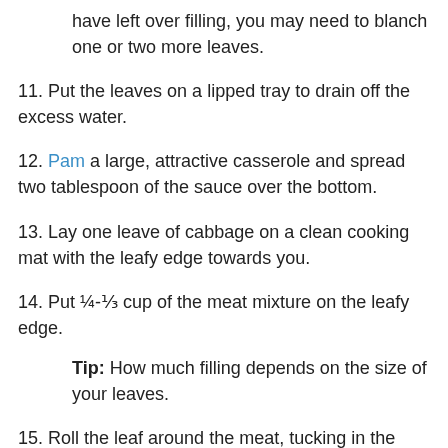have left over filling, you may need to blanch one or two more leaves.
11. Put the leaves on a lipped tray to drain off the excess water.
12. Pam a large, attractive casserole and spread two tablespoon of the sauce over the bottom.
13. Lay one leave of cabbage on a clean cooking mat with the leafy edge towards you.
14. Put ¼-⅓ cup of the meat mixture on the leafy edge.
Tip: How much filling depends on the size of your leaves.
15. Roll the leaf around the meat, tucking in the outer edges and you go.